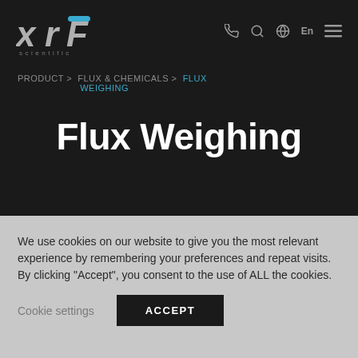[Figure (logo): XRF Scientific logo with stylized XRF text and 'scientific' underneath]
PRODUCT > FLUX & CHEMICALS > FLUX WEIGHING
Flux Weighing
We use cookies on our website to give you the most relevant experience by remembering your preferences and repeat visits. By clicking "Accept", you consent to the use of ALL the cookies.
Cookie settings   ACCEPT